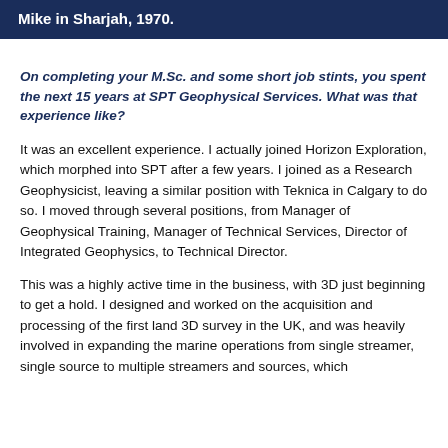Mike in Sharjah, 1970.
On completing your M.Sc. and some short job stints, you spent the next 15 years at SPT Geophysical Services. What was that experience like?
It was an excellent experience. I actually joined Horizon Exploration, which morphed into SPT after a few years. I joined as a Research Geophysicist, leaving a similar position with Teknica in Calgary to do so. I moved through several positions, from Manager of Geophysical Training, Manager of Technical Services, Director of Integrated Geophysics, to Technical Director.
This was a highly active time in the business, with 3D just beginning to get a hold. I designed and worked on the acquisition and processing of the first land 3D survey in the UK, and was heavily involved in expanding the marine operations from single streamer, single source to multiple streamers and sources, which